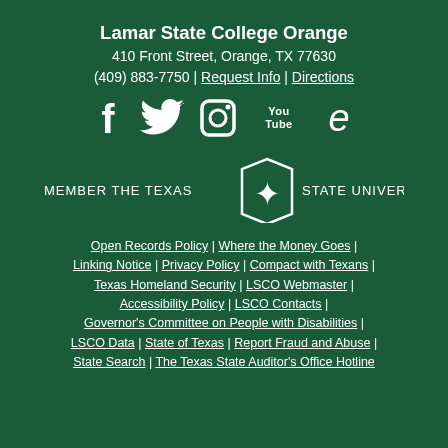Lamar State College Orange
410 Front Street, Orange, TX 77630
(409) 883-7750 | Request Info | Directions
[Figure (illustration): Social media icons: Facebook, Twitter, Instagram, YouTube, Edge browser]
[Figure (logo): Member The Texas State University System logo with star emblem]
Open Records Policy | Where the Money Goes | Linking Notice | Privacy Policy | Compact with Texans | Texas Homeland Security | LSCO Webmaster | Accessibility Policy | LSCO Contacts | Governor's Committee on People with Disabilities | LSCO Data | State of Texas | Report Fraud and Abuse | State Search | The Texas State Auditor's Office Hotline